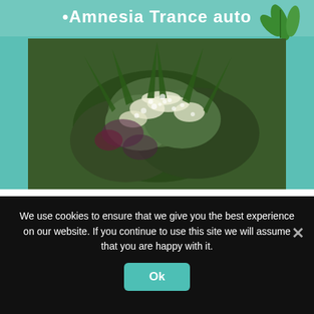[Figure (photo): Close-up photo of cannabis flower/bud against teal background, with text '•Amnesia Trance auto' at top in white]
Most Wanted Auto Fem Combo Pack
Click For Price
We use cookies to ensure that we give you the best experience on our website. If you continue to use this site we will assume that you are happy with it.
Ok